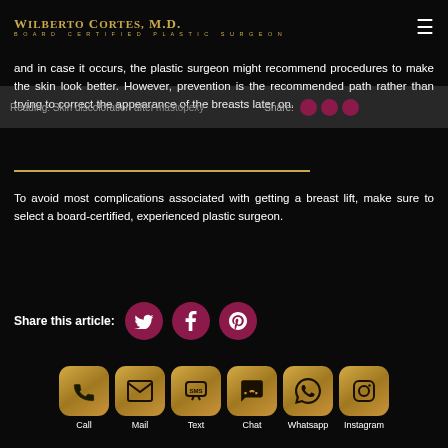WILBERTO CORTES, M.D. BOARD CERTIFIED PLASTIC SURGEON
and in case it occurs, the plastic surgeon might recommend procedures to make the skin look better. However, prevention is the recommended path rather than trying to correct the appearance of the breasts later on.

To avoid most complications associated with getting a breast lift, make sure to select a board-certified, experienced plastic surgeon.
Share this article:
[Figure (infographic): Social share buttons: Twitter, Facebook, Pinterest (dark red/crimson circles)]
[Figure (infographic): Contact action icons: Call, Mail, Text, Chat, Whatsapp, Instagram - gold rounded square icons with labels below]